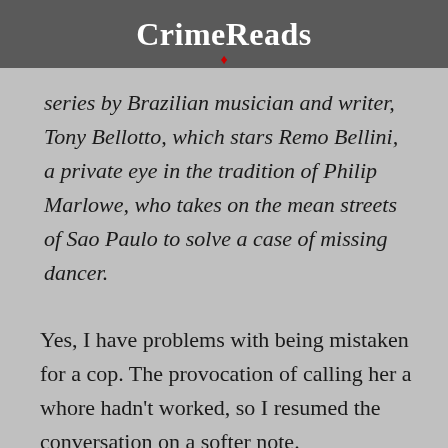CrimeReads
series by Brazilian musician and writer, Tony Bellotto, which stars Remo Bellini, a private eye in the tradition of Philip Marlowe, who takes on the mean streets of Sao Paulo to solve a case of missing dancer.
Yes, I have problems with being mistaken for a cop. The provocation of calling her a whore hadn't worked, so I resumed the conversation on a softer note.